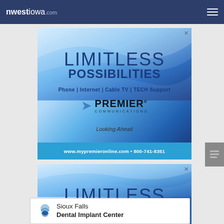nwestiowa.com
[Figure (illustration): Premier Communications advertisement: 'LIMITLESS POSSIBILITIES — Phone | Internet | Cable TV | TECH Support — PREMIER COMMUNICATIONS — Looking Ahead — www.mypremieronline.com • 800-741-8351']
[Figure (illustration): Premier Communications advertisement (partial repeat): 'LIMITLESS POSSIBILITIES' with blue wave background]
[Figure (logo): Sioux Falls Dental Implant Center logo and name banner at bottom of page]